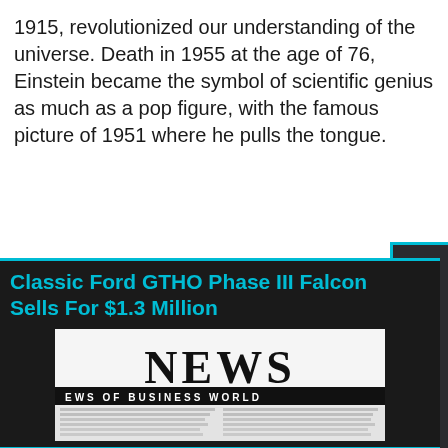1915, revolutionized our understanding of the universe. Death in 1955 at the age of 76, Einstein became the symbol of scientific genius as much as a pop figure, with the famous picture of 1951 where he pulls the tongue.
Classic Ford GTHO Phase III Falcon Sells For $1.3 Million
[Figure (photo): Photograph of a newspaper with large 'NEWS' headline and subtitle 'EWS OF BUSINESS WORLD', with blurred body text below]